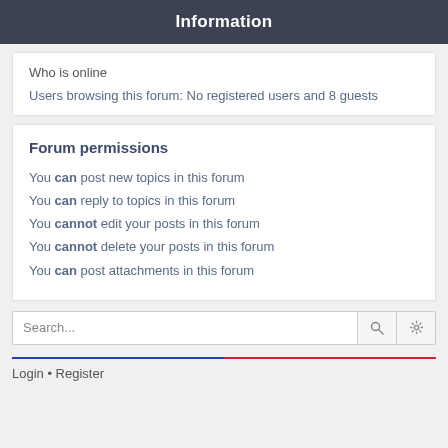Information
Who is online
Users browsing this forum: No registered users and 8 guests
Forum permissions
You can post new topics in this forum
You can reply to topics in this forum
You cannot edit your posts in this forum
You cannot delete your posts in this forum
You can post attachments in this forum
Search...
Login • Register